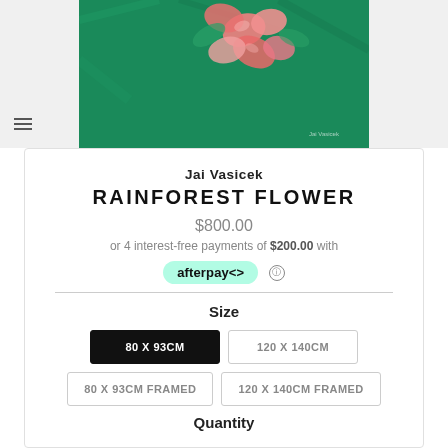[Figure (photo): Painting of pink tropical flowers on a green background by Jai Vasicek]
Jai Vasicek
RAINFOREST FLOWER
$800.00
or 4 interest-free payments of $200.00 with afterpay
Size
80 X 93CM (selected)
120 X 140CM
80 X 93CM FRAMED
120 X 140CM FRAMED
Quantity